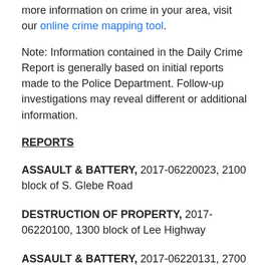more information on crime in your area, visit our online crime mapping tool.
Note: Information contained in the Daily Crime Report is generally based on initial reports made to the Police Department. Follow-up investigations may reveal different or additional information.
REPORTS
ASSAULT & BATTERY, 2017-06220023, 2100 block of S. Glebe Road
DESTRUCTION OF PROPERTY, 2017-06220100, 1300 block of Lee Highway
ASSAULT & BATTERY, 2017-06220131, 2700 block of Jefferson Davis Highway